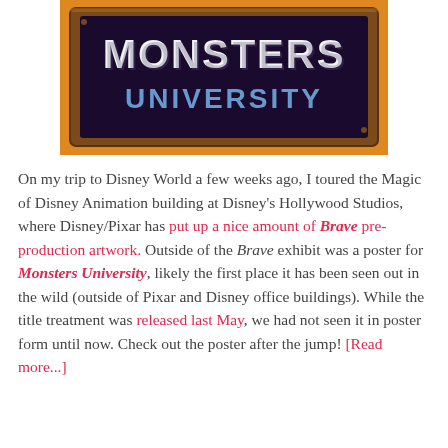[Figure (photo): Photo of a Monsters University movie poster/sign displayed in a dark framed board with orange/warm background. The sign reads 'MONSTERS UNIVERSITY' in large stylized letters — white 'MONSTERS' with shadowed styling and blue 'UNIVERSITY' text beneath.]
On my trip to Disney World a few weeks ago, I toured the Magic of Disney Animation building at Disney's Hollywood Studios, where Disney/Pixar has put up a nice amount of Brave pre-production artwork. Outside of the Brave exhibit was a poster for Monsters University, likely the first place it has been seen out in the wild (outside of Pixar and Disney office buildings). While the title treatment was released last May, we had not seen it in poster form until now. Check out the poster after the jump! [Read more...]